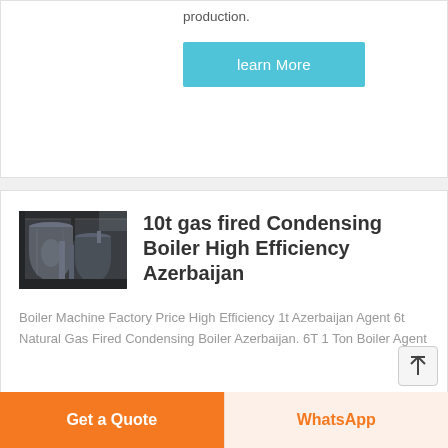production.
learn More
[Figure (photo): Industrial boiler equipment in a factory setting, showing large cylindrical boiler units in a manufacturing facility.]
10t gas fired Condensing Boiler High Efficiency Azerbaijan
Boiler Machine Factory Price High Efficiency 1t Azerbaijan Agent 6t Natural Gas Fired Condensing Boiler Azerbaijan. 6T 1 Ton Boiler Agent
Get a Quote
WhatsApp